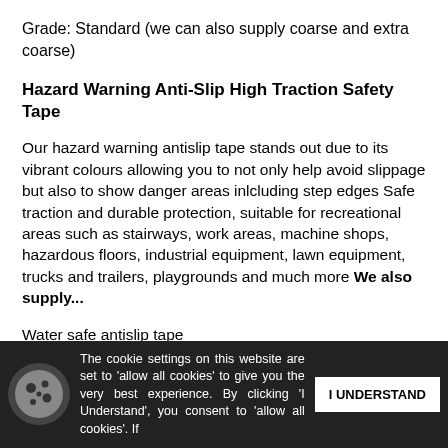Grade: Standard (we can also supply coarse and extra coarse)
Hazard Warning Anti-Slip High Traction Safety Tape
Our hazard warning antislip tape stands out due to its vibrant colours allowing you to not only help avoid slippage but also to show danger areas inlcluding step edges Safe traction and durable protection, suitable for recreational areas such as stairways, work areas, machine shops, hazardous floors, industrial equipment, lawn equipment, trucks and trailers, playgrounds and much more We also supply...
Water safe antislip tape
Conformable antislip tape
Glow in the dark antislip tape
Hazard warning antislip tape
Printed antislip tape
Die cut shapes
Bespoke antislip tape
Luminous colour...
The cookie settings on this website are set to 'allow all cookies' to give you the very best experience. By clicking 'I Understand', you consent to 'allow all cookies'. If